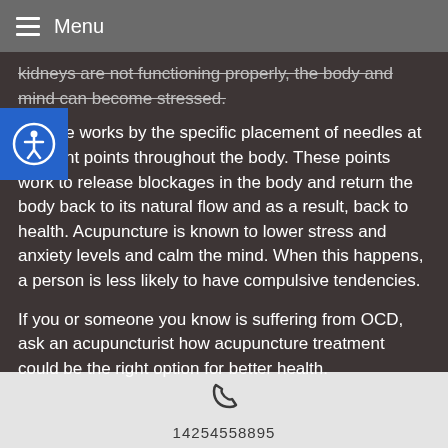Menu
kidneys are not functioning properly, the body and mind can become stressed.
Acupuncture works by the specific placement of needles at different points throughout the body. These points work to release blockages in the body and return the body back to its natural flow and as a result, back to health. Acupuncture is known to lower stress and anxiety levels and calm the mind. When this happens, a person is less likely to have compulsive tendencies.
If you or someone you know is suffering from OCD, ask an acupuncturist how acupuncture treatment could be the right option for better health.
14254558895